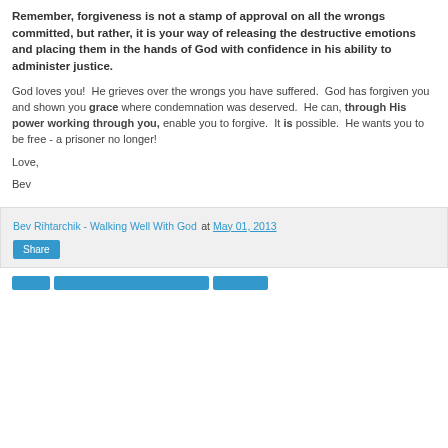Remember, forgiveness is not a stamp of approval on all the wrongs committed, but rather, it is your way of releasing the destructive emotions and placing them in the hands of God with confidence in his ability to administer justice.
God loves you!  He grieves over the wrongs you have suffered.  God has forgiven you and shown you grace where condemnation was deserved.  He can, through His power working through you, enable you to forgive.  It is possible.  He wants you to be free - a prisoner no longer!
Love,
Bev
Bev Rihtarchik - Walking Well With God at May 01, 2013